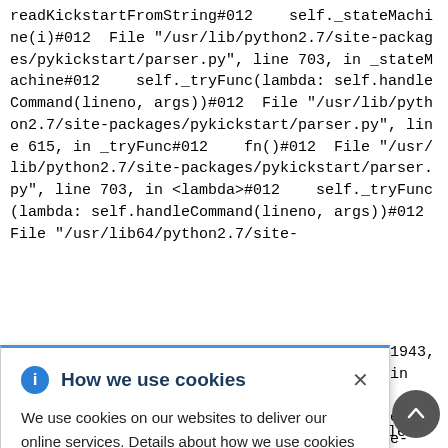readKickstartFromString#012    self._stateMachine(i)#012  File "/usr/lib/python2.7/site-packages/pykickstart/parser.py", line 703, in _stateMachine#012    self._tryFunc(lambda: self.handleCommand(lineno, args))#012  File "/usr/lib/python2.7/site-packages/pykickstart/parser.py", line 615, in _tryFunc#012    fn()#012  File "/usr/lib/python2.7/site-packages/pykickstart/parser.py", line 703, in <lambda>#012    self._tryFunc(lambda: self.handleCommand(lineno, args))#012  File "/usr/lib64/python2.7/site-
[Figure (screenshot): Cookie consent banner overlay with title 'How we use cookies', info icon, close button, and body text explaining cookie usage with a Privacy Statement link.]
self.commands[cmd].parse(args[1:])#012  File